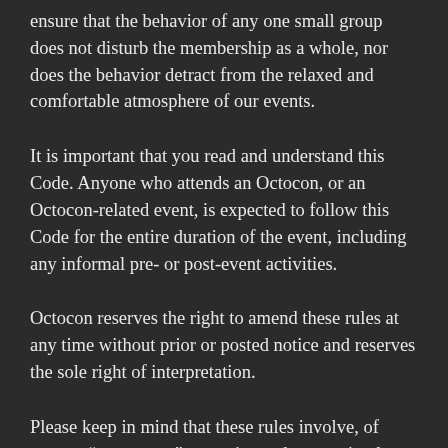ensure that the behavior of any one small group does not disturb the membership as a whole, nor does the behavior detract from the relaxed and comfortable atmosphere of our events.
It is important that you read and understand this Code. Anyone who attends an Octocon, or an Octocon-related event, is expected to follow this Code for the entire duration of the event, including any informal pre- or post-event activities.
Octocon reserves the right to amend these rules at any time without prior or posted notice and reserves the sole right of interpretation.
Please keep in mind that these rules involve, of course, “worst-case” scenarios and are put in place to ensure the safety and comfort of our members. They are not all-